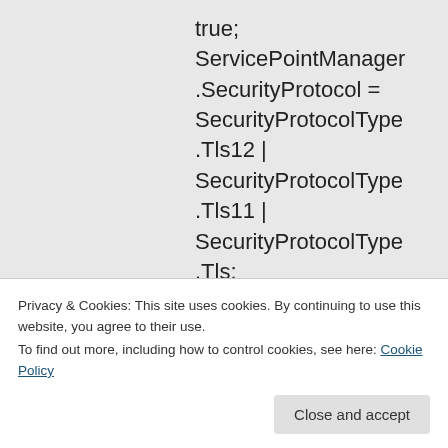true;
ServicePointManager
.SecurityProtocol =
SecurityProtocolType
.Tls12 |
SecurityProtocolType
.Tls11 |
SecurityProtocolType
.Tls;
Is there any method
Privacy & Cookies: This site uses cookies. By continuing to use this website, you agree to their use.
To find out more, including how to control cookies, see here: Cookie Policy
Close and accept